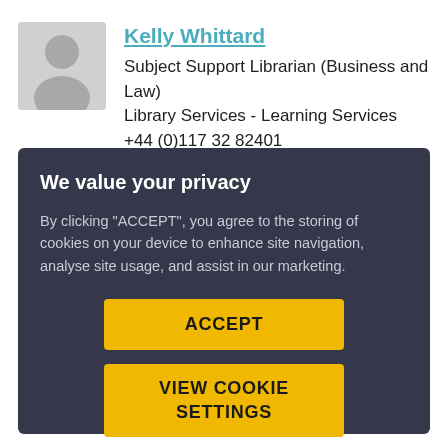[Figure (photo): Generic grey avatar/silhouette placeholder image for a person profile photo]
Kelly Whittard
Subject Support Librarian (Business and Law)
Library Services - Learning Services
+44 (0)117 32 82401
We value your privacy
By clicking "ACCEPT", you agree to the storing of cookies on your device to enhance site navigation, analyse site usage, and assist in our marketing.
ACCEPT
VIEW COOKIE SETTINGS